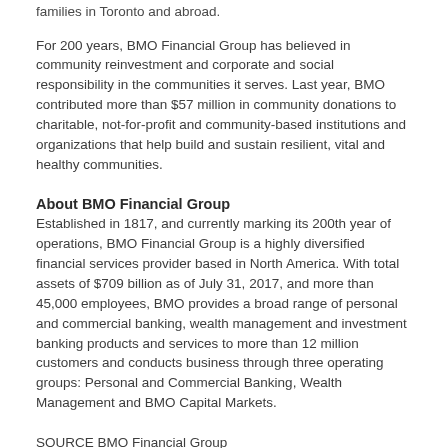families in Toronto and abroad.
For 200 years, BMO Financial Group has believed in community reinvestment and corporate and social responsibility in the communities it serves. Last year, BMO contributed more than $57 million in community donations to charitable, not-for-profit and community-based institutions and organizations that help build and sustain resilient, vital and healthy communities.
About BMO Financial Group
Established in 1817, and currently marking its 200th year of operations, BMO Financial Group is a highly diversified financial services provider based in North America. With total assets of $709 billion as of July 31, 2017, and more than 45,000 employees, BMO provides a broad range of personal and commercial banking, wealth management and investment banking products and services to more than 12 million customers and conducts business through three operating groups: Personal and Commercial Banking, Wealth Management and BMO Capital Markets.
SOURCE BMO Financial Group